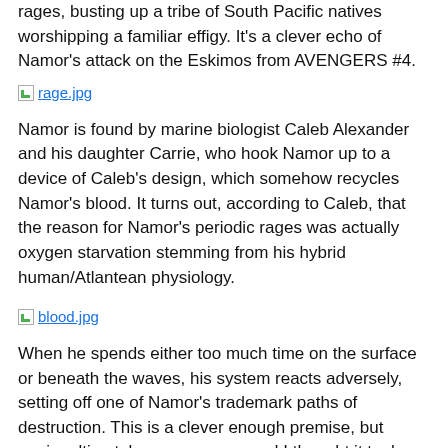rages, busting up a tribe of South Pacific natives worshipping a familiar effigy. It's a clever echo of Namor's attack on the Eskimos from AVENGERS #4.
[Figure (other): Image placeholder for rage.jpg]
Namor is found by marine biologist Caleb Alexander and his daughter Carrie, who hook Namor up to a device of Caleb's design, which somehow recycles Namor's blood. It turns out, according to Caleb, that the reason for Namor's periodic rages was actually oxygen starvation stemming from his hybrid human/Atlantean physiology.
[Figure (other): Image placeholder for blood.jpg]
When he spends either too much time on the surface or beneath the waves, his system reacts adversely, setting off one of Namor's trademark paths of destruction. This is a clever enough premise, but again, ultimately unnecessary, and I thought it took away a little of Namor's unpredictable edge, making him a victim of biology instead of a genuinely flawed male from below, to which is f...